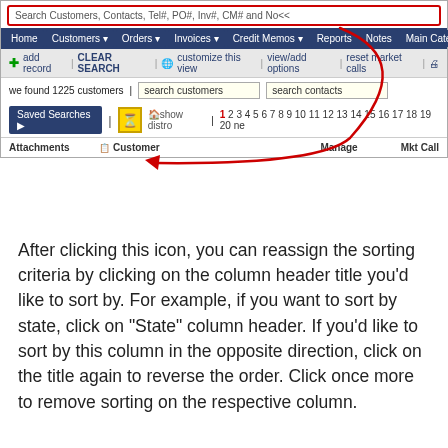[Figure (screenshot): CRM web application screenshot showing search bar, navigation bar with Home/Customers/Orders/Invoices/Credit Memos/Reports/Notes/Main Categories, toolbar with add record/CLEAR SEARCH/customize this view/view/add options/reset market calls, search customers and search contacts input fields, Saved Searches button, yellow hourglass icon, show distro link, page numbers 1-20, and column headers Attachments, Customer, Manage, Mkt Call. A red arrow annotation points from the search bar to the yellow hourglass icon.]
After clicking this icon, you can reassign the sorting criteria by clicking on the column header title you’d like to sort by. For example, if you want to sort by state, click on “State” column header. If you’d like to sort by this column in the opposite direction, click on the title again to reverse the order. Click once more to remove sorting on the respective column.